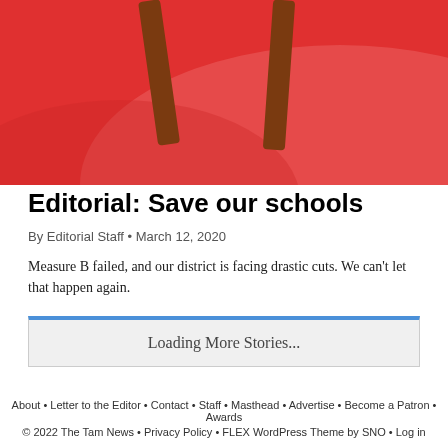[Figure (illustration): Red background illustration showing chair legs and curved shapes in red tones with brown wooden chair legs]
Editorial: Save our schools
By Editorial Staff • March 12, 2020
Measure B failed, and our district is facing drastic cuts. We can't let that happen again.
Loading More Stories...
About • Letter to the Editor • Contact • Staff • Masthead • Advertise • Become a Patron • Awards
© 2022 The Tam News • Privacy Policy • FLEX WordPress Theme by SNO • Log in